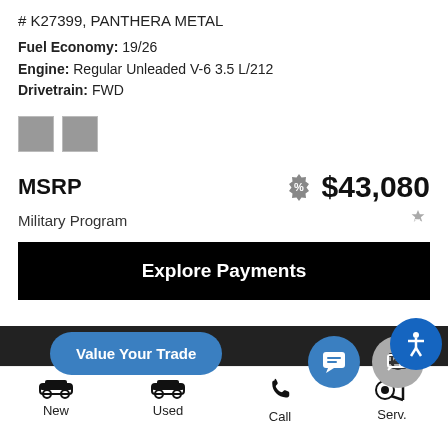# K27399, PANTHERA METAL
Fuel Economy: 19/26
Engine: Regular Unleaded V-6 3.5 L/212
Drivetrain: FWD
[Figure (other): Two grey color swatches]
MSRP  $43,080
Military Program
Explore Payments
Value Your Trade
SAVE THIS VEHICLE
New
Used
Call
Serv.